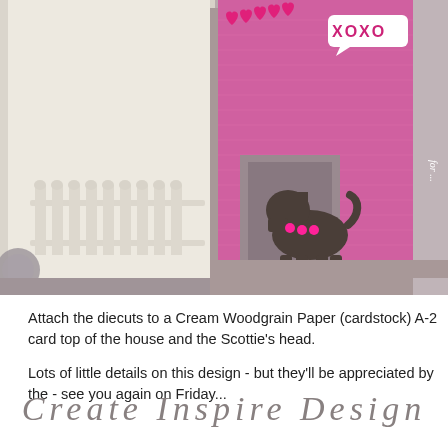[Figure (photo): Close-up photograph of a handmade greeting card featuring a pink embossed house card with a Scottie dog die-cut, hearts, an XOXO speech bubble, and a cream colored card base with an embossed white picket fence. A gray base strip and decorative lacy edge are visible.]
Attach the diecuts to a Cream Woodgrain Paper (cardstock) A-2 card top of the house and the Scottie's head.
Lots of little details on this design - but they'll be appreciated by the - see you again on Friday...
Create Inspire Design